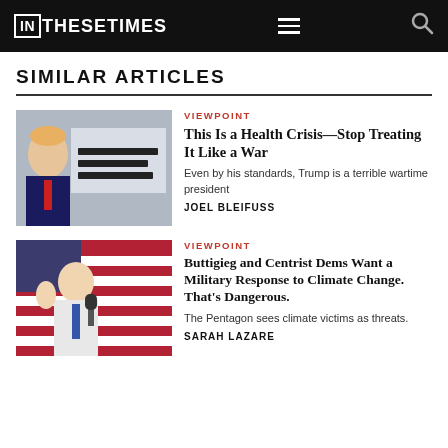IN THESE TIMES
SIMILAR ARTICLES
[Figure (photo): Photo of Donald Trump at a briefing podium with '30 DAYS TO SLOW THE SPREAD' sign visible]
VIEWPOINT
This Is a Health Crisis—Stop Treating It Like a War
Even by his standards, Trump is a terrible wartime president
JOEL BLEIFUSS
[Figure (photo): Photo of Pete Buttigieg speaking at a microphone with an American flag in background]
VIEWPOINT
Buttigieg and Centrist Dems Want a Military Response to Climate Change. That's Dangerous.
The Pentagon sees climate victims as threats.
SARAH LAZARE